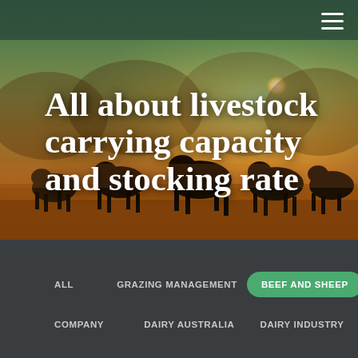[Figure (photo): Hero image showing a herd of livestock (sheep and cattle) silhouetted against a warm golden sunset with misty/foggy atmosphere and green tinted sky at the top. A hamburger menu icon appears in the top right corner.]
All about livestock carrying capacity and stocking rate
ALL
GRAZING MANAGEMENT
BEEF AND SHEEP
COMPANY
DAIRY AUSTRALIA
DAIRY INDUSTRY